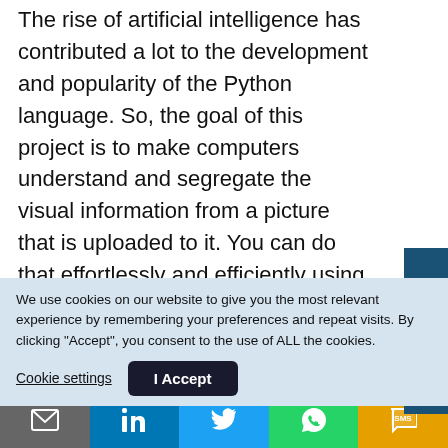The rise of artificial intelligence has contributed a lot to the development and popularity of the Python language. So, the goal of this project is to make computers understand and segregate the visual information from a picture that is uploaded to it. You can do that effortlessly and efficiently using the libraries and frameworks such as ImageAI, TensorFlow, OpenCV, Keras, and NumPy.
We use cookies on our website to give you the most relevant experience by remembering your preferences and repeat visits. By clicking "Accept", you consent to the use of ALL the cookies.